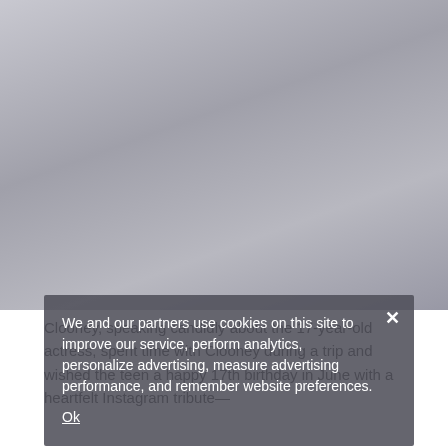[Figure (photo): A group of people posing together at what appears to be a formal event or premiere. The image is faded/desaturated. A woman in a dark dress is visible on the left, and other people are standing with her.]
Clooney, speaking candidly about the 17-year-old actress, spent time with Clooney during a trip and wished the teen a happy 17th birthday in June with a heartfelt Instagram tribute—
We and our partners use cookies on this site to improve our service, perform analytics, personalize advertising, measure advertising performance, and remember website preferences. Ok